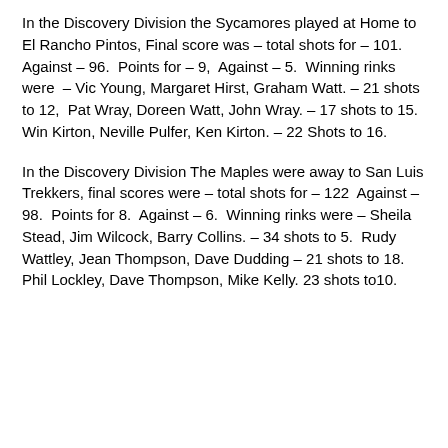In the Discovery Division the Sycamores played at Home to El Rancho Pintos, Final score was – total shots for – 101.  Against – 96.  Points for – 9,  Against – 5.  Winning rinks were  – Vic Young, Margaret Hirst, Graham Watt. – 21 shots to 12,  Pat Wray, Doreen Watt, John Wray. – 17 shots to 15.  Win Kirton, Neville Pulfer, Ken Kirton. – 22 Shots to 16.
In the Discovery Division The Maples were away to San Luis Trekkers, final scores were – total shots for – 122  Against – 98.  Points for 8.  Against – 6.  Winning rinks were – Sheila Stead, Jim Wilcock, Barry Collins. – 34 shots to 5.  Rudy Wattley, Jean Thompson, Dave Dudding – 21 shots to 18. Phil Lockley, Dave Thompson, Mike Kelly. 23 shots to10.